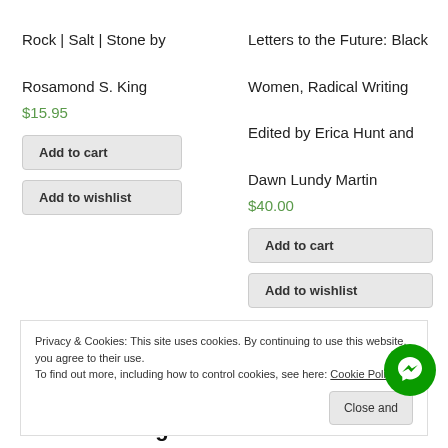Rock | Salt | Stone by Rosamond S. King
$15.95
Add to cart
Add to wishlist
Letters to the Future: Black Women, Radical Writing Edited by Erica Hunt and Dawn Lundy Martin
$40.00
Add to cart
Add to wishlist
Privacy & Cookies: This site uses cookies. By continuing to use this website, you agree to their use. To find out more, including how to control cookies, see here: Cookie Policy
Close and
Product categories